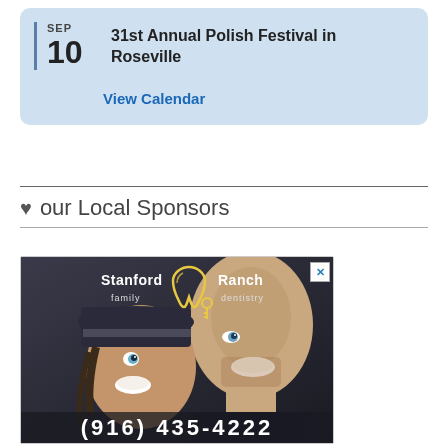SEP 10 — 31st Annual Polish Festival in Roseville
View Calendar
♥ our Local Sponsors
[Figure (photo): Advertisement for Stanford Ranch family dentistry showing a smiling couple (man and child/woman) with phone number (916) 435-4222 and a dental logo with tooth icon in gold/yellow.]